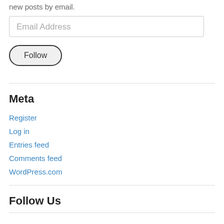new posts by email.
Email Address
Follow
Meta
Register
Log in
Entries feed
Comments feed
WordPress.com
Follow Us